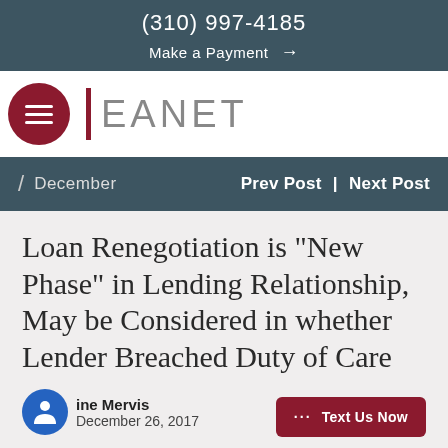(310) 997-4185
Make a Payment →
[Figure (logo): LEANET law firm logo with dark red vertical bar and gray text on white background, with hamburger menu button in dark red circle]
/ December   Prev Post | Next Post
Loan Renegotiation is "New Phase" in Lending Relationship, May be Considered in whether Lender Breached Duty of Care
ine Mervis
December 26, 2017